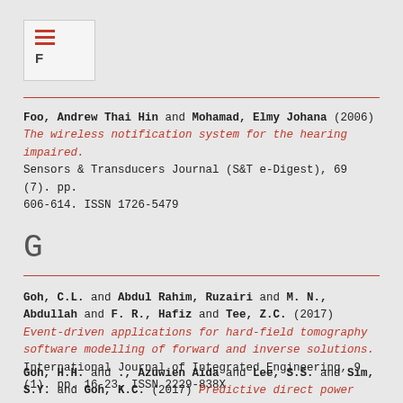F
Foo, Andrew Thai Hin and Mohamad, Elmy Johana (2006) The wireless notification system for the hearing impaired. Sensors & Transducers Journal (S&T e-Digest), 69 (7). pp. 606-614. ISSN 1726-5479
G
Goh, C.L. and Abdul Rahim, Ruzairi and M. N., Abdullah and F. R., Hafiz and Tee, Z.C. (2017) Event-driven applications for hard-field tomography software modelling of forward and inverse solutions. International Journal of Integrated Engineering, 9 (1). pp. 16-23. ISSN 2229-838X
Goh, H.H. and ., Azuwien Aida and Lee, S.S. and Sim, S.Y. and Goh, K.C. (2017) Predictive direct power control (PDPC) of grid-connected dual-active bridge multilevel inverter (DABMI). International Journal of Power Electronics and Drive